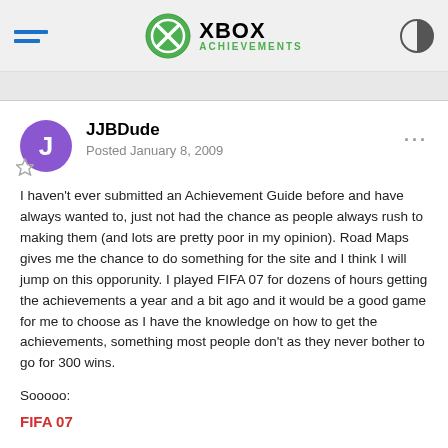XBOX ACHIEVEMENTS
JJBDude
Posted January 8, 2009
I haven't ever submitted an Achievement Guide before and have always wanted to, just not had the chance as people always rush to making them (and lots are pretty poor in my opinion). Road Maps gives me the chance to do something for the site and I think I will jump on this opporunity. I played FIFA 07 for dozens of hours getting the achievements a year and a bit ago and it would be a good game for me to choose as I have the knowledge on how to get the achievements, something most people don't as they never bother to go for 300 wins.
Sooooo:
FIFA 07